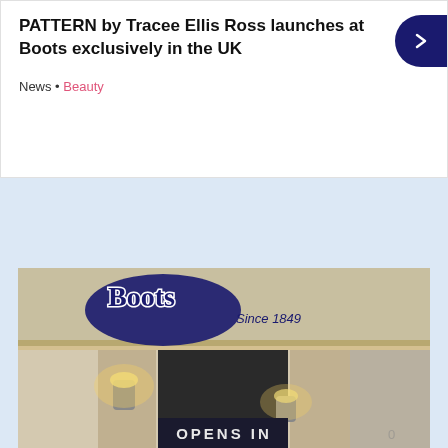PATTERN by Tracee Ellis Ross launches at Boots exclusively in the UK
News • Beauty
[Figure (photo): Exterior of a Boots store showing the logo with 'Since 1849' text and wall-mounted lights, with a sign reading 'OPENS IN' at the bottom]